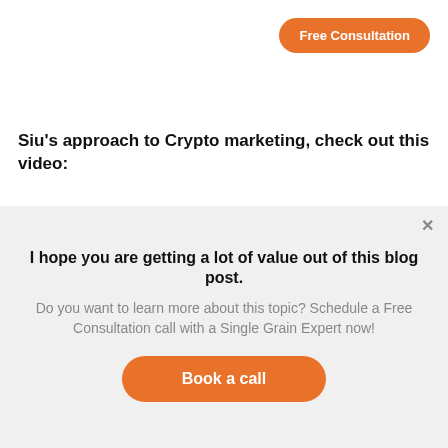Free Consultation
Siu’s approach to Crypto marketing, check out this video:
[Figure (screenshot): Video thumbnail showing a man's face on a purple/pink gradient background with bold white text reading 'BASICS OF' and partially visible yellow text below]
I hope you are getting a lot of value out of this blog post.
Do you want to learn more about this topic? Schedule a Free Consultation call with a Single Grain Expert now!
Book a call